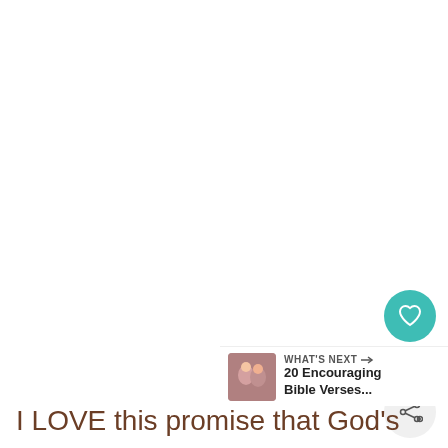[Figure (infographic): Heart/like button (teal circle with white heart icon), count '1', and share button (light grey circle with share icon) on the right side of the page]
1
[Figure (infographic): WHAT'S NEXT card showing a thumbnail of two people and the title '20 Encouraging Bible Verses...']
I LOVE this promise that God's